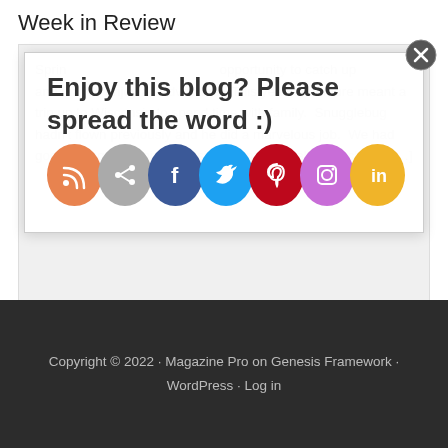Week in Review
Spring… opportunity to catch up … and maybe enjoy an adventure.  This year, adventure meant a trip up to Wisconsin to spend time with family.  Snugglebug hadn't flown previously and he did a marvelous job.  We had good timing and enjoyed a significant snowfall (~6 inches).  […]
[Figure (infographic): Popup overlay with heading 'Enjoy this blog? Please spread the word :)' and row of social sharing icons: RSS (orange), Share (gray), Facebook (blue), Twitter (light blue), Pinterest (red), Instagram (purple), and a yellow icon.]
Copyright © 2022 · Magazine Pro on Genesis Framework · WordPress · Log in